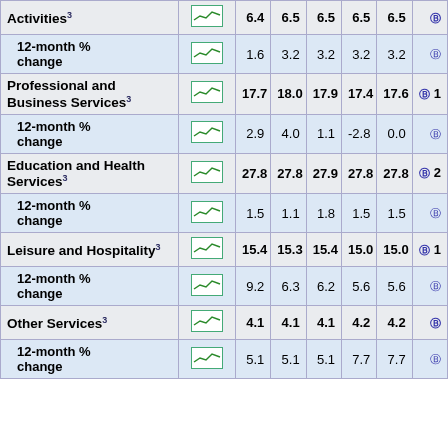| Category | Graph | Col1 | Col2 | Col3 | Col4 | Col5 | Col6 |
| --- | --- | --- | --- | --- | --- | --- | --- |
| Activities(3) | [graph] | 6.4 | 6.5 | 6.5 | 6.5 | 6.5 | (P) ... |
| 12-month % change | [graph] | 1.6 | 3.2 | 3.2 | 3.2 | 3.2 | (P) ... |
| Professional and Business Services(3) | [graph] | 17.7 | 18.0 | 17.9 | 17.4 | 17.6 | (P) 1... |
| 12-month % change | [graph] | 2.9 | 4.0 | 1.1 | -2.8 | 0.0 | (P) ... |
| Education and Health Services(3) | [graph] | 27.8 | 27.8 | 27.9 | 27.8 | 27.8 | (P) 2... |
| 12-month % change | [graph] | 1.5 | 1.1 | 1.8 | 1.5 | 1.5 | (P) ... |
| Leisure and Hospitality(3) | [graph] | 15.4 | 15.3 | 15.4 | 15.0 | 15.0 | (P) 1... |
| 12-month % change | [graph] | 9.2 | 6.3 | 6.2 | 5.6 | 5.6 | (P) ... |
| Other Services(3) | [graph] | 4.1 | 4.1 | 4.1 | 4.2 | 4.2 | (P) ... |
| 12-month % change | [graph] | 5.1 | 5.1 | 5.1 | 7.7 | 7.7 | (P) ... |